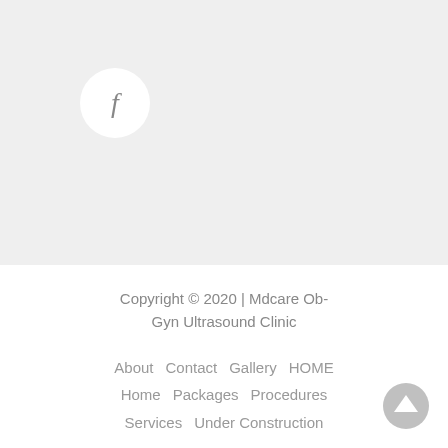[Figure (logo): Facebook icon in white circle on light gray background]
Copyright © 2020 | Mdcare Ob-Gyn Ultrasound Clinic
About   Contact   Gallery   HOME   Home   Packages   Procedures   Services   Under Construction